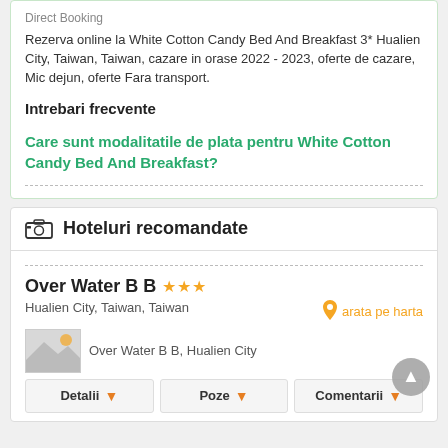Direct Booking
Rezerva online la White Cotton Candy Bed And Breakfast 3* Hualien City, Taiwan, Taiwan, cazare in orase 2022 - 2023, oferte de cazare, Mic dejun, oferte Fara transport.
Intrebari frecvente
Care sunt modalitatile de plata pentru White Cotton Candy Bed And Breakfast?
Hoteluri recomandate
Over Water B B ★★★
Hualien City, Taiwan, Taiwan
arata pe harta
[Figure (photo): Photo of Over Water B B hotel in Hualien City]
Over Water B B, Hualien City
Detalii
Poze
Comentarii